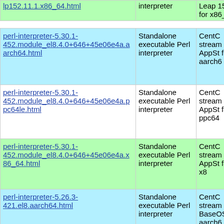| Package | Description | Distribution |
| --- | --- | --- |
| lp152.11.1.x86_64.html | interpreter | Leap 15.2 for x86_64 | lp152.11... |
| perl-interpreter-5.30.1-452.module_el8.4.0+646+45e06e4a.aarch64.html | Standalone executable Perl interpreter | CentOS stream AppSt for aarch6... |
| perl-interpreter-5.30.1-452.module_el8.4.0+646+45e06e4a.ppc64le.html | Standalone executable Perl interpreter | CentOS stream AppSt for ppc64... |
| perl-interpreter-5.30.1-452.module_el8.4.0+646+45e06e4a.x86_64.html | Standalone executable Perl interpreter | CentOS stream AppSt for x8... |
| perl-interpreter-5.26.3-421.el8.aarch64.html | Standalone executable Perl interpreter | CentOS stream BaseOS for aarch6... |
|  | Standalone executable | CentOS stream... |